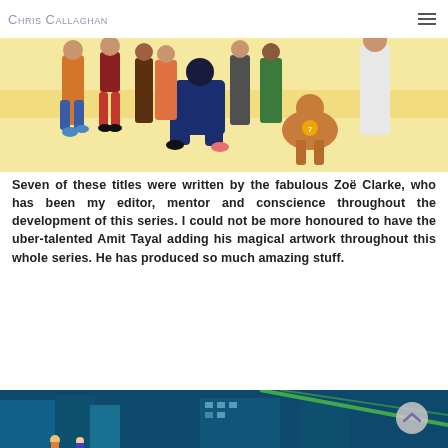Chris Callaghan
[Figure (illustration): Illustrated group of cartoon superhero characters including children, a dog wearing a superhero badge, and adults, set against a yellow-striped background.]
Seven of these titles were written by the fabulous Zoë Clarke, who has been my editor, mentor and conscience throughout the development of this series. I could not be more honoured to have the uber-talented Amit Tayal adding his magical artwork throughout this whole series. He has produced so much amazing stuff.
[Figure (illustration): Illustrated scene showing a cityscape with blue/teal tones and small cartoon figures at the bottom.]